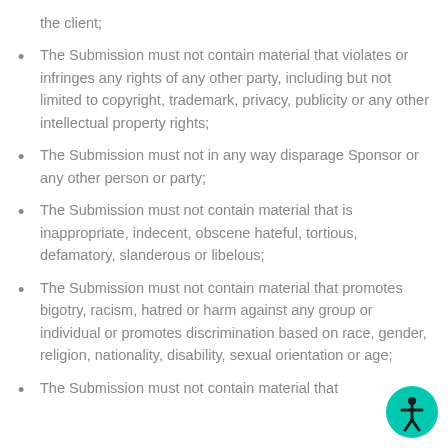the client;
The Submission must not contain material that violates or infringes any rights of any other party, including but not limited to copyright, trademark, privacy, publicity or any other intellectual property rights;
The Submission must not in any way disparage Sponsor or any other person or party;
The Submission must not contain material that is inappropriate, indecent, obscene hateful, tortious, defamatory, slanderous or libelous;
The Submission must not contain material that promotes bigotry, racism, hatred or harm against any group or individual or promotes discrimination based on race, gender, religion, nationality, disability, sexual orientation or age;
The Submission must not contain material that